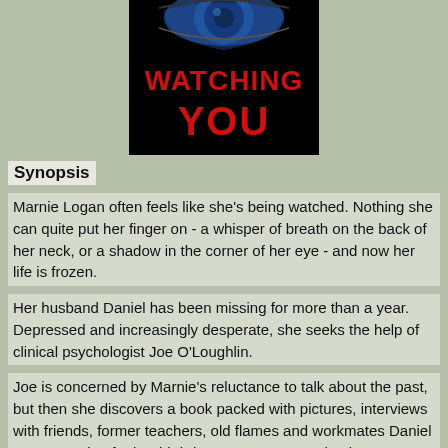[Figure (illustration): Book cover for 'Watching You' showing a close-up of a blue eye at the top, with bold red text reading 'WATCHING YOU' on a black background]
Synopsis
Marnie Logan often feels like she's being watched. Nothing she can quite put her finger on - a whisper of breath on the back of her neck, or a shadow in the corner of her eye - and now her life is frozen.
Her husband Daniel has been missing for more than a year. Depressed and increasingly desperate, she seeks the help of clinical psychologist Joe O'Loughlin.
Joe is concerned by Marnie's reluctance to talk about the past, but then she discovers a book packed with pictures, interviews with friends, former teachers, old flames and workmates Daniel was preparing for her birthday. It was supposed to be a celebration of her life. But it's not the story anyone was expecting...